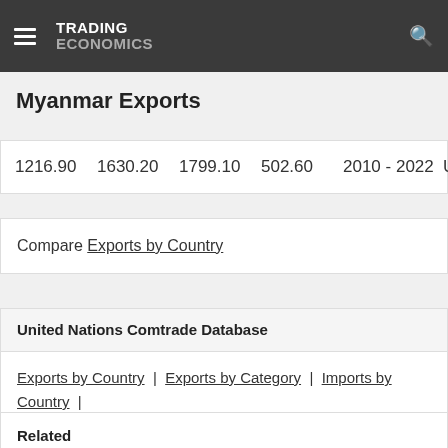TRADING ECONOMICS
Myanmar Exports
| 1216.90 | 1630.20 | 1799.10 | 502.60 | 2010 - 2022 | USD |
Compare Exports by Country
United Nations Comtrade Database
Exports by Country | Exports by Category | Imports by Country | Imports by Category
Related